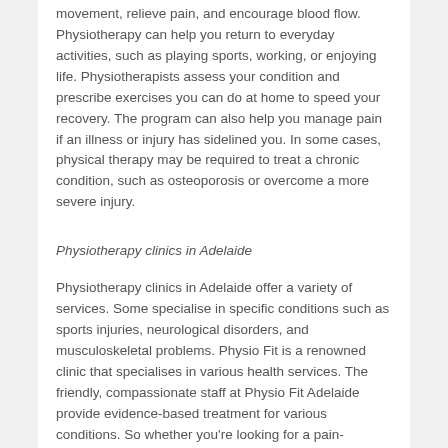movement, relieve pain, and encourage blood flow. Physiotherapy can help you return to everyday activities, such as playing sports, working, or enjoying life. Physiotherapists assess your condition and prescribe exercises you can do at home to speed your recovery. The program can also help you manage pain if an illness or injury has sidelined you. In some cases, physical therapy may be required to treat a chronic condition, such as osteoporosis or overcome a more severe injury.
Physiotherapy clinics in Adelaide
Physiotherapy clinics in Adelaide offer a variety of services. Some specialise in specific conditions such as sports injuries, neurological disorders, and musculoskeletal problems. Physio Fit is a renowned clinic that specialises in various health services. The friendly, compassionate staff at Physio Fit Adelaide provide evidence-based treatment for various conditions. So whether you're looking for a pain-relieving treatment or a complete health care plan, Physio Fit therapy can help you find the best physiotherapy clinic in Adelaide for your needs.
Physio Fit is one of the leading physiotherapy providers in Adelaide...